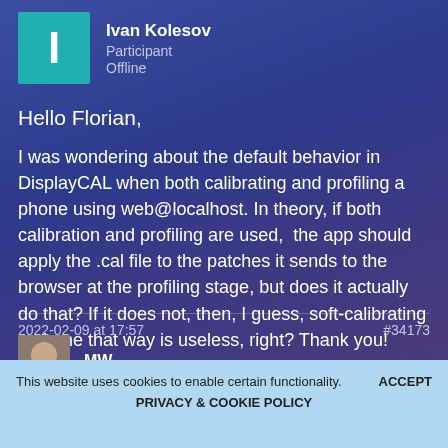Ivan Kolesov
Participant
Offline
Hello Florian,
I was wondering about the default behavior in DisplayCAL when both calibrating and profiling a phone using web@localhost. In theory, if both calibration and profiling are used,  the app should apply the .cal file to the patches it sends to the browser at the profiling stage, but does it actually do that? If it does not, then, I guess, soft-calibrating a phone that way is useless, right? Thank you!
2022-02-09 at 17:57
#34173
MW
This website uses cookies to enable certain functionality.
ACCEPT
PRIVACY & COOKIE POLICY